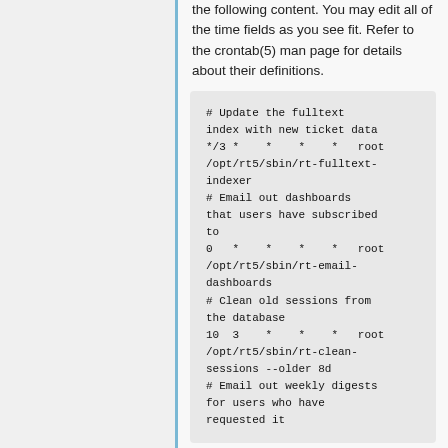the following content. You may edit all of the time fields as you see fit. Refer to the crontab(5) man page for details about their definitions.
# Update the fulltext index with new ticket data
*/3 *    *    *    *   root /opt/rt5/sbin/rt-fulltext-indexer
# Email out dashboards that users have subscribed to
0   *    *    *    *   root /opt/rt5/sbin/rt-email-dashboards
# Clean old sessions from the database
10  3    *    *    *   root /opt/rt5/sbin/rt-clean-sessions --older 8d
# Email out weekly digests for users who have requested it